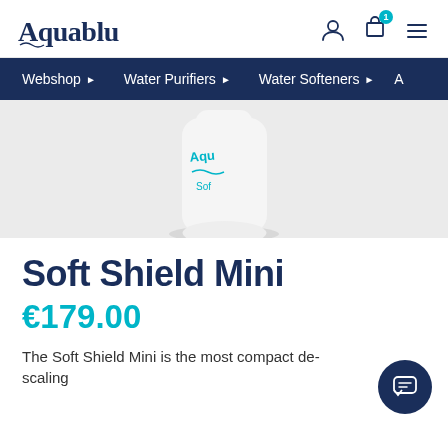Aquablu
[Figure (screenshot): Navigation bar with menu items: Webshop, Water Purifiers, Water Softeners, A...]
[Figure (photo): Aquablu Soft Shield Mini water softener product image on grey background]
Soft Shield Mini
€179.00
The Soft Shield Mini is the most compact de-scaling